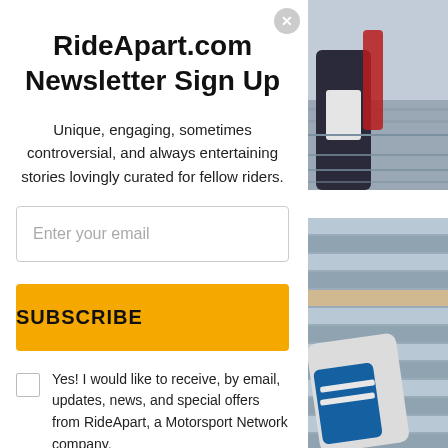RideApart.com Newsletter Sign Up
Unique, engaging, sometimes controversial, and always entertaining stories lovingly curated for fellow riders.
Enter your email
SUBSCRIBE
Yes! I would like to receive, by email, updates, news, and special offers from RideApart, a Motorsport Network company.
[Figure (photo): Photo of motorcycle racing boot/gear on a track surface]
[Figure (photo): Photo of motorcycle racing suit arm/glove with blue and white color scheme]